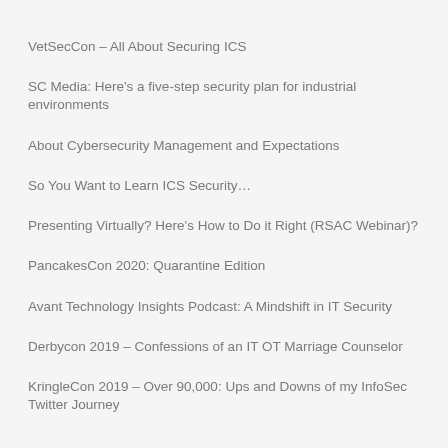VetSecCon – All About Securing ICS
SC Media: Here's a five-step security plan for industrial environments
About Cybersecurity Management and Expectations
So You Want to Learn ICS Security…
Presenting Virtually? Here's How to Do it Right (RSAC Webinar)?
PancakesCon 2020: Quarantine Edition
Avant Technology Insights Podcast: A Mindshift in IT Security
Derbycon 2019 – Confessions of an IT OT Marriage Counselor
KringleCon 2019 – Over 90,000: Ups and Downs of my InfoSec Twitter Journey